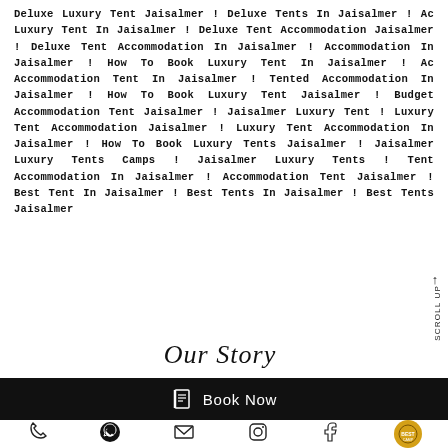Deluxe Luxury Tent Jaisalmer ! Deluxe Tents In Jaisalmer ! Ac Luxury Tent In Jaisalmer ! Deluxe Tent Accommodation Jaisalmer ! Deluxe Tent Accommodation In Jaisalmer ! Accommodation In Jaisalmer ! How To Book Luxury Tent In Jaisalmer ! Ac Accommodation Tent In Jaisalmer ! Tented Accommodation In Jaisalmer ! How To Book Luxury Tent Jaisalmer ! Budget Accommodation Tent Jaisalmer ! Jaisalmer Luxury Tent ! Luxury Tent Accommodation Jaisalmer ! Luxury Tent Accommodation In Jaisalmer ! How To Book Luxury Tents Jaisalmer ! Jaisalmer Luxury Tents Camps ! Jaisalmer Luxury Tents ! Tent Accommodation In Jaisalmer ! Accommodation Tent Jaisalmer ! Best Tent In Jaisalmer ! Best Tents In Jaisalmer ! Best Tents Jaisalmer
Our Story
Book Now